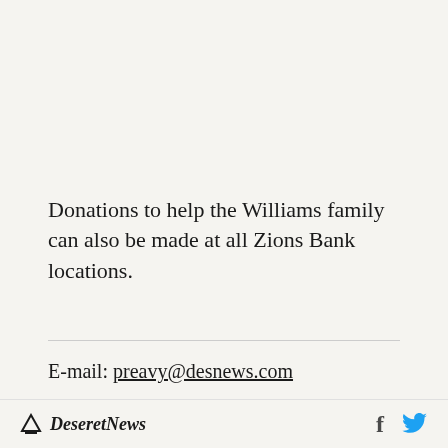Donations to help the Williams family can also be made at all Zions Bank locations.
E-mail: preavy@desnews.com
[Figure (other): Partially visible social media sharing widget box at bottom of article]
Deseret News — with Facebook and Twitter icons